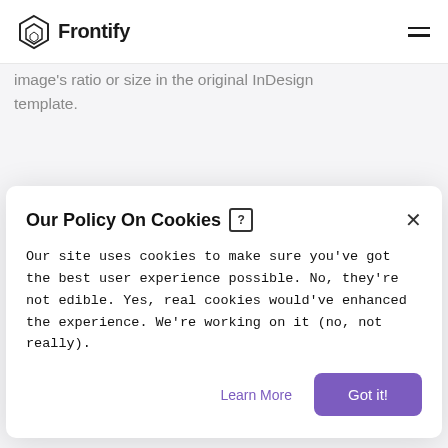Frontify
image's ratio or size in the original InDesign template.
Our Policy On Cookies
Our site uses cookies to make sure you've got the best user experience possible. No, they're not edible. Yes, real cookies would've enhanced the experience. We're working on it (no, not really).
Learn More
Got it!
cropped.